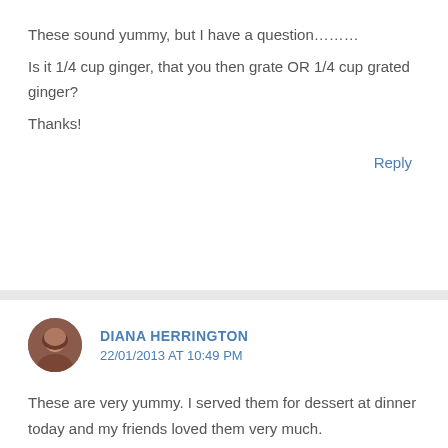These sound yummy, but I have a question………
Is it 1/4 cup ginger, that you then grate OR 1/4 cup grated ginger?
Thanks!
Reply
DIANA HERRINGTON
22/01/2013 AT 10:49 PM
These are very yummy. I served them for dessert at dinner today and my friends loved them very much.